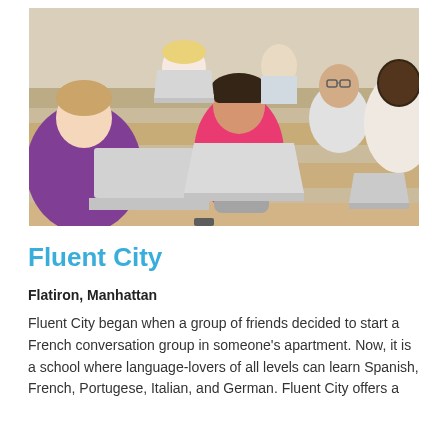[Figure (photo): Students sitting in a lecture hall with laptops open. A woman in a pink top is centered and looking at the camera. Other diverse students are visible in the background.]
Fluent City
Flatiron, Manhattan
Fluent City began when a group of friends decided to start a French conversation group in someone's apartment. Now, it is a school where language-lovers of all levels can learn Spanish, French, Portugese, Italian, and German. Fluent City offers a